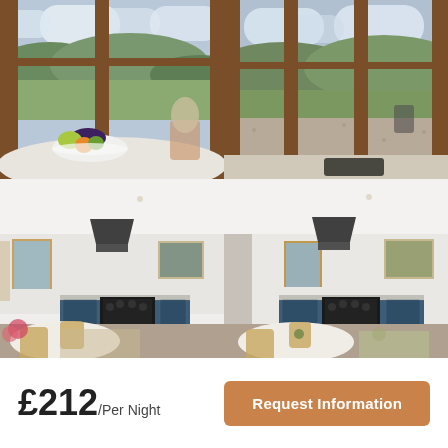[Figure (photo): Four property photos arranged in a 2x2 grid. Top-left: interior dining table with fruit bowl and large wooden-framed windows overlooking hills. Top-right: corner view of large wooden-framed windows with view of gravel and hills. Bottom-left: open-plan kitchen/living area with blue kitchen units, black range cooker, extractor hood, dining table, framed art. Bottom-right: same open-plan kitchen/living area from slightly different angle.]
£212/Per Night
Request Information